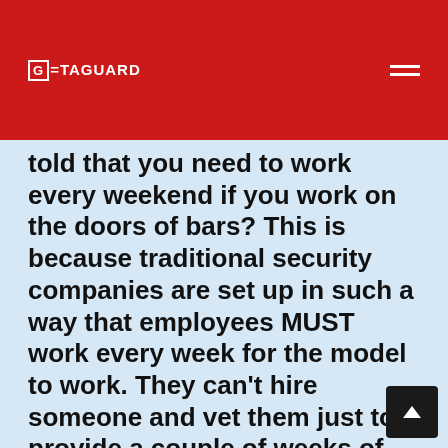GETAGUARD
told that you need to work every weekend if you work on the doors of bars? This is because traditional security companies are set up in such a way that employees MUST work every week for the model to work. They can't hire someone and vet them just to provide a couple of weeks of cover. But with Getaguard, we don't have that problem. Our mobile app will connect customer requests to a network of thousands of security personnel in their city, if one wants to take the weekend off to go golfing or just play playstation